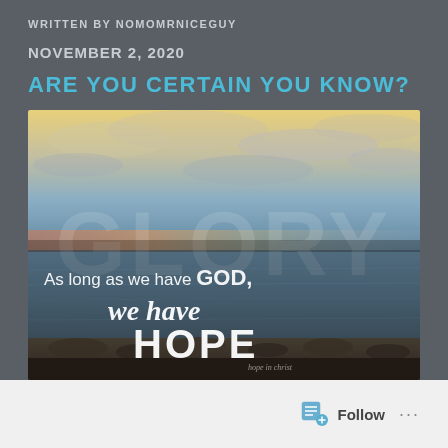WRITTEN BY NOMOMRNICEGUY
NOVEMBER 2, 2020
ARE YOU CERTAIN YOU KNOW?
[Figure (photo): Sunset over a lake or bay with text overlay reading: 'As long as we have GOD, we have HOPE'. The word 'GLORY' is faintly visible as a watermark overlay. Rocky foreground, warm golden sky above the horizon.]
Follow